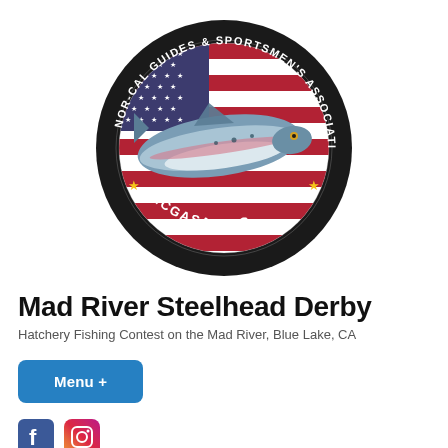[Figure (logo): Circular logo of Nor-Cal Guides & Sportsmen's Association showing a steelhead fish over an American flag background, with text 'NOR-CAL GUIDES & SPORTSMEN'S ASSOCIATION' around the top arc and 'NCGASA.ORG' along the bottom arc, with gold stars, on a dark background.]
Mad River Steelhead Derby
Hatchery Fishing Contest on the Mad River, Blue Lake, CA
Menu +
[Figure (logo): Facebook and Instagram social media icons]